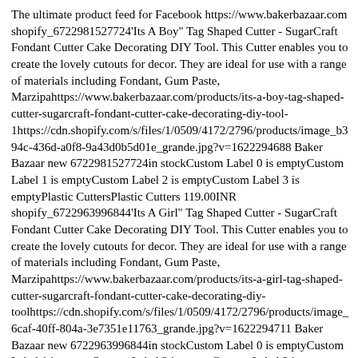The ultimate product feed for Facebook https://www.bakerbazaar.com shopify_6722981527724'Its A Boy" Tag Shaped Cutter - SugarCraft Fondant Cutter Cake Decorating DIY Tool. This Cutter enables you to create the lovely cutouts for decor. They are ideal for use with a range of materials including Fondant, Gum Paste, Marzipahttps://www.bakerbazaar.com/products/its-a-boy-tag-shaped-cutter-sugarcraft-fondant-cutter-cake-decorating-diy-tool-1https://cdn.shopify.com/s/files/1/0509/4172/2796/products/image_b394c-436d-a0f8-9a43d0b5d01e_grande.jpg?v=1622294688 Baker Bazaar new 6722981527724in stockCustom Label 0 is emptyCustom Label 1 is emptyCustom Label 2 is emptyCustom Label 3 is emptyPlastic CuttersPlastic Cutters 119.00INR shopify_6722963996844'Its A Girl" Tag Shaped Cutter - SugarCraft Fondant Cutter Cake Decorating DIY Tool. This Cutter enables you to create the lovely cutouts for decor. They are ideal for use with a range of materials including Fondant, Gum Paste, Marzipahttps://www.bakerbazaar.com/products/its-a-girl-tag-shaped-cutter-sugarcraft-fondant-cutter-cake-decorating-diy-toolhttps://cdn.shopify.com/s/files/1/0509/4172/2796/products/image_6caf-40ff-804a-3e7351e11763_grande.jpg?v=1622294711 Baker Bazaar new 6722963996844in stockCustom Label 0 is emptyCustom Label 1 is emptyCustom Label 2 is emptyCustom Label 3 is emptyPlastic CuttersPlastic Cutters 119.00INR shopify_6096478404⁷801 In 1 Sultane/Russian Icing Nozzle